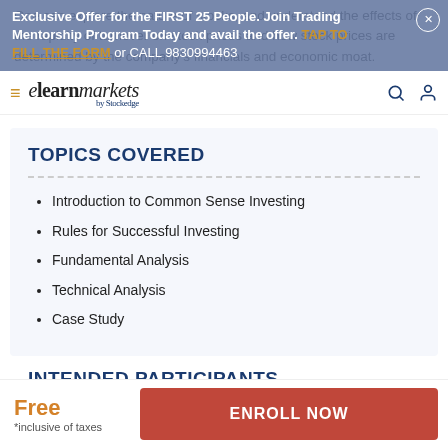Exclusive Offer for the FIRST 25 People. Join Trading Mentorship Program Today and avail the offer. TAP TO FILL THE FORM or CALL 9830994463
One can explore the nature of stocks, and understand the effects of the rapidity of turnover on stock prices and how stock prices are determined by the company's financials and economic moat.
TOPICS COVERED
Introduction to Common Sense Investing
Rules for Successful Investing
Fundamental Analysis
Technical Analysis
Case Study
INTENDED PARTICIPANTS
Free *inclusive of taxes   ENROLL NOW